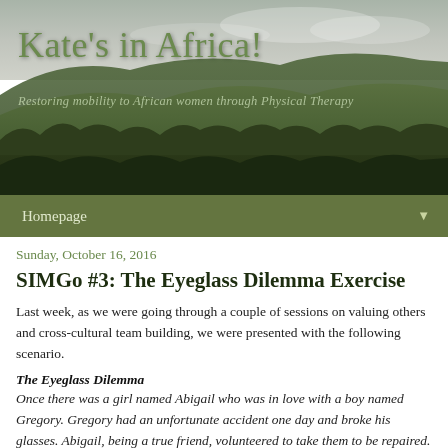[Figure (photo): Landscape header photo showing green hills with trees, cloudy sky, used as blog header background.]
Kate's in Africa!
Restoring mobility to African women through Physical Therapy
Homepage ▼
Sunday, October 16, 2016
SIMGo #3: The Eyeglass Dilemma Exercise
Last week, as we were going through a couple of sessions on valuing others and cross-cultural team building, we were presented with the following scenario.
The Eyeglass Dilemma
Once there was a girl named Abigail who was in love with a boy named Gregory. Gregory had an unfortunate accident one day and broke his glasses. Abigail, being a true friend, volunteered to take them to be repaired. The repair shop was across the river, and during a flash flood the bridge was washed away. Poor Gregory could see nothing without his glasses, so Abigail was